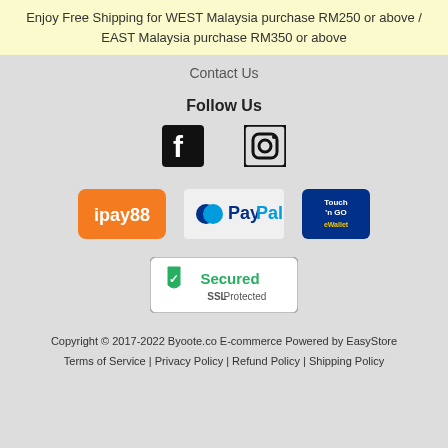Enjoy Free Shipping for WEST Malaysia purchase RM250 or above / EAST Malaysia purchase RM350 or above
Contact Us
Follow Us
[Figure (logo): Facebook and Instagram social media icons]
[Figure (logo): ipay88, PayPal, and Touch 'n Go eWallet payment method logos]
[Figure (logo): Secured SSL Protected badge]
Copyright © 2017-2022 Byoote.co E-commerce Powered by EasyStore
Terms of Service | Privacy Policy | Refund Policy | Shipping Policy